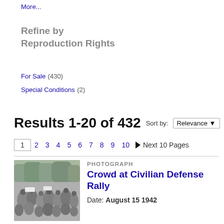More...
Refine by Reproduction Rights
For Sale (430)
Special Conditions (2)
Results 1-20 of 432  Sort by: Relevance
1 2 3 4 5 6 7 8 9 10 ▶ Next 10 Pages
PHOTOGRAPH
Crowd at Civilian Defense Rally
Date: August 15 1942
[Figure (photo): Black and white photograph of a crowd at a Civilian Defense Rally, with trees in background and people gathered outdoors.]